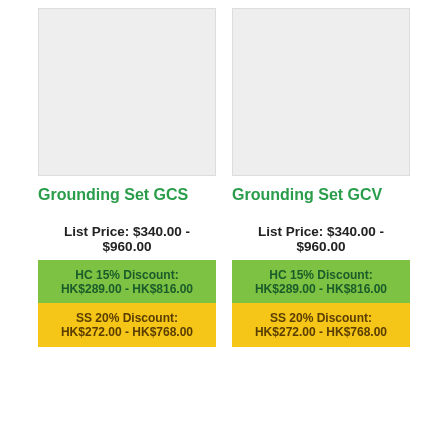[Figure (photo): Product image placeholder for Grounding Set GCS (light gray box)]
[Figure (photo): Product image placeholder for Grounding Set GCV (light gray box)]
Grounding Set GCS
Grounding Set GCV
List Price: $340.00 - $960.00
List Price: $340.00 - $960.00
HC 15% Discount: HK$289.00 - HK$816.00
HC 15% Discount: HK$289.00 - HK$816.00
SS 20% Discount: HK$272.00 - HK$768.00
SS 20% Discount: HK$272.00 - HK$768.00